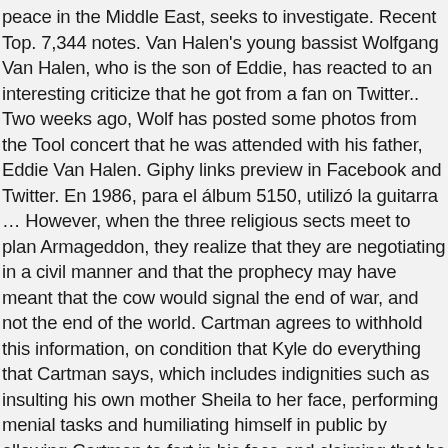peace in the Middle East, seeks to investigate. Recent Top. 7,344 notes. Van Halen's young bassist Wolfgang Van Halen, who is the son of Eddie, has reacted to an interesting criticize that he got from a fan on Twitter.. Two weeks ago, Wolf has posted some photos from the Tool concert that he was attended with his father, Eddie Van Halen. Giphy links preview in Facebook and Twitter. En 1986, para el álbum 5150, utilizó la guitarra … However, when the three religious sects meet to plan Armageddon, they realize that they are negotiating in a civil manner and that the prophecy may have meant that the cow would signal the end of war, and not the end of the world. Cartman agrees to withhold this information, on condition that Kyle do everything that Cartman says, which includes indignities such as insulting his own mother Sheila to her face, performing menial tasks and humiliating himself in public by allowing Cartman to fart in his face and claiming that he enjoys it. Discover more posts about south-park-gif. Follow. Discover & share this South Park GIF with everyone you know. On Off. The 243rd episode of the series overall,